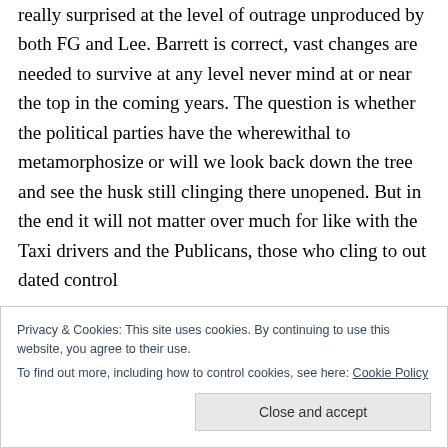really surprised at the level of outrage unproduced by both FG and Lee. Barrett is correct, vast changes are needed to survive at any level never mind at or near the top in the coming years. The question is whether the political parties have the wherewithal to metamorphosize or will we look back down the tree and see the husk still clinging there unopened. But in the end it will not matter over much for like with the Taxi drivers and the Publicans, those who cling to out dated control
Privacy & Cookies: This site uses cookies. By continuing to use this website, you agree to their use.
To find out more, including how to control cookies, see here: Cookie Policy